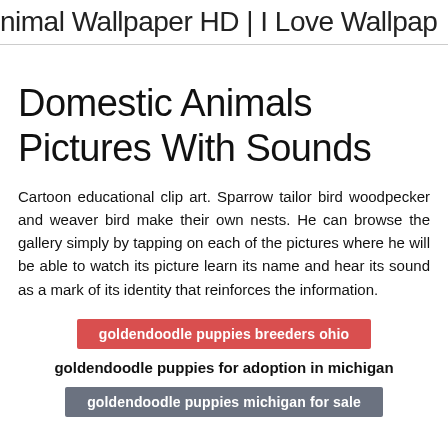nimal Wallpaper HD | I Love Wallpap
Domestic Animals Pictures With Sounds
Cartoon educational clip art. Sparrow tailor bird woodpecker and weaver bird make their own nests. He can browse the gallery simply by tapping on each of the pictures where he will be able to watch its picture learn its name and hear its sound as a mark of its identity that reinforces the information.
goldendoodle puppies breeders ohio
goldendoodle puppies for adoption in michigan
goldendoodle puppies michigan for sale